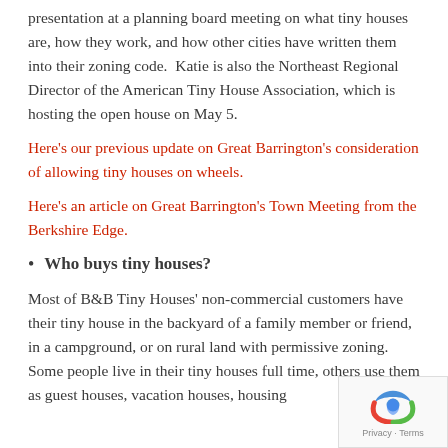presentation at a planning board meeting on what tiny houses are, how they work, and how other cities have written them into their zoning code.  Katie is also the Northeast Regional Director of the American Tiny House Association, which is hosting the open house on May 5.
Here's our previous update on Great Barrington's consideration of allowing tiny houses on wheels.
Here's an article on Great Barrington's Town Meeting from the Berkshire Edge.
Who buys tiny houses?
Most of B&B Tiny Houses' non-commercial customers have their tiny house in the backyard of a family member or friend, in a campground, or on rural land with permissive zoning.  Some people live in their tiny houses full time, others use them as guest houses, vacation houses, housing...